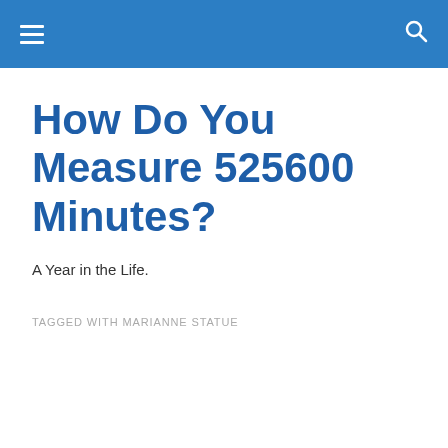How Do You Measure 525600 Minutes?
A Year in the Life.
TAGGED WITH MARIANNE STATUE